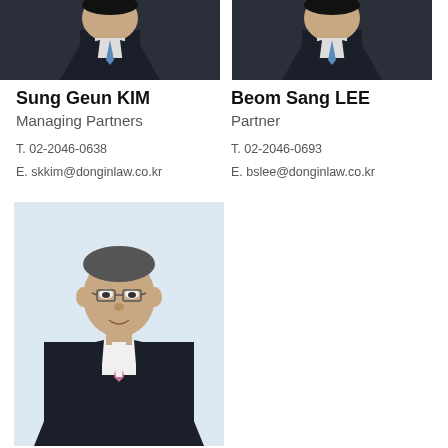[Figure (photo): Cropped photo of Sung Geun KIM (upper portion, dark suit, blue tie)]
[Figure (photo): Cropped photo of Beom Sang LEE (upper portion, dark suit, blue tie)]
Sung Geun KIM
Managing Partners

T. 02-2046-0638
E. skkim@donginlaw.co.kr
Beom Sang LEE
Partner

T. 02-2046-0693
E. bslee@donginlaw.co.kr
[Figure (photo): Full portrait of a third attorney in dark suit with pink tie, light blue background]